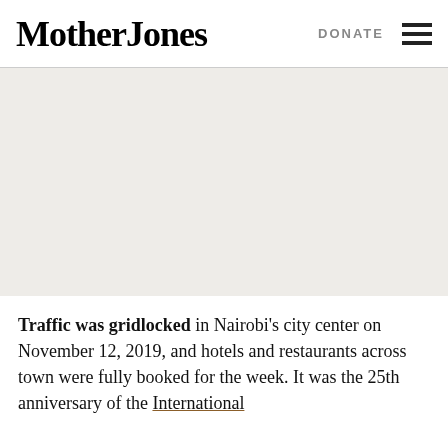Mother Jones  DONATE
[Figure (photo): Large image placeholder area with light beige/grey background, no visible image content]
Traffic was gridlocked in Nairobi's city center on November 12, 2019, and hotels and restaurants across town were fully booked for the week. It was the 25th anniversary of the International